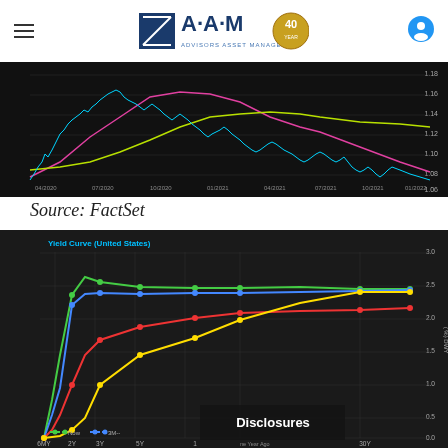AAM - Advisors Asset Management (40 Years)
[Figure (continuous-plot): Dark background line chart showing EUR/USD or similar currency pair exchange rate from 04/2020 to 04/2022. Multiple colored lines: cyan (jagged price), magenta, yellow-green moving averages. Y-axis shows values from approximately 1.06 to 1.18.]
Source: FactSet
[Figure (line-chart): Dark background yield curve chart showing four colored lines (green=Now, blue=3 Months Ago, red=6 Months Ago, yellow=One Year Ago). X-axis: 6MY, 2Y, 3Y, 5Y, 1Y, ... 30Y. Y-axis: 0.0 to 3.0 (% DWY). All curves rise from near 0 at short end toward 2.5-2.7 at long end, with green showing inversion at 2Y-3Y. Disclosures overlay visible.]